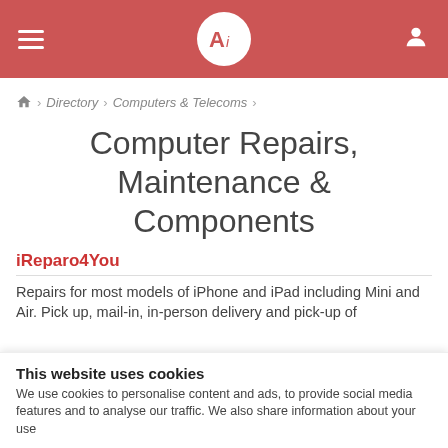Ai [logo] navigation header
🏠 › Directory › Computers & Telecoms ›
Computer Repairs, Maintenance & Components
iReparo4You
Repairs for most models of iPhone and iPad including Mini and Air. Pick up, mail-in, in-person delivery and pick-up of
This website uses cookies
We use cookies to personalise content and ads, to provide social media features and to analyse our traffic. We also share information about your use